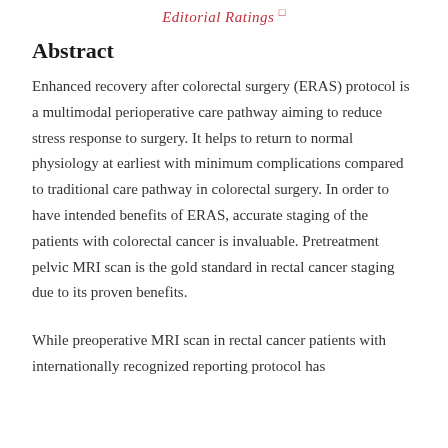Editorial Ratings
Abstract
Enhanced recovery after colorectal surgery (ERAS) protocol is a multimodal perioperative care pathway aiming to reduce stress response to surgery. It helps to return to normal physiology at earliest with minimum complications compared to traditional care pathway in colorectal surgery. In order to have intended benefits of ERAS, accurate staging of the patients with colorectal cancer is invaluable. Pretreatment pelvic MRI scan is the gold standard in rectal cancer staging due to its proven benefits.
While preoperative MRI scan in rectal cancer patients with internationally recognized reporting protocol has